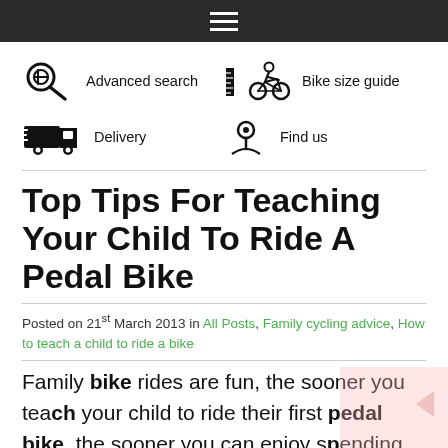☰ (navigation menu icon)
Advanced search
Bike size guide
Delivery
Find us
Top Tips For Teaching Your Child To Ride A Pedal Bike
Posted on 21st March 2013 in All Posts, Family cycling advice, How to teach a child to ride a bike
Family bike rides are fun, the sooner you teach your child to ride their first pedal bike, the sooner you can enjoy spending time cycling together, or even just relaxing while they effortlessly burn off excess